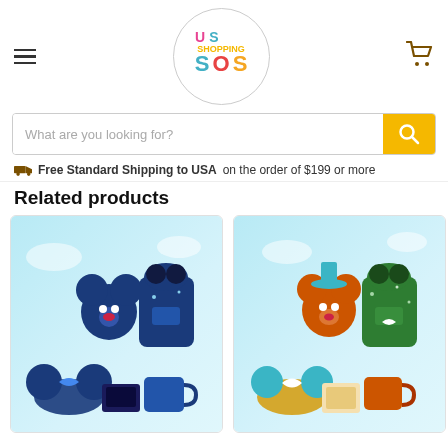[Figure (logo): US Shopping SOS logo in a circle with colorful letters]
What are you looking for?
🚚 Free Standard Shipping to USA on the order of $199 or more
Related products
[Figure (photo): Disney Mickey Mouse blue themed merchandise set including plush, backpack, mug, headband ears]
[Figure (photo): Disney Mickey Mouse colorful themed merchandise set including plush, green glitter backpack, headband ears, mug]